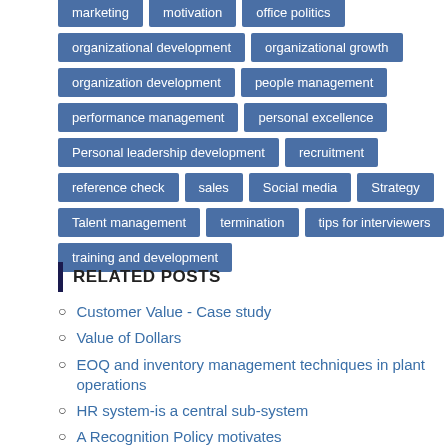marketing | motivation | office politics
organizational development | organizational growth
organization development | people management
performance management | personal excellence
Personal leadership development | recruitment
reference check | sales | Social media | Strategy
Talent management | termination | tips for interviewers
training and development
RELATED POSTS
Customer Value - Case study
Value of Dollars
EOQ and inventory management techniques in plant operations
HR system-is a central sub-system
A Recognition Policy motivates